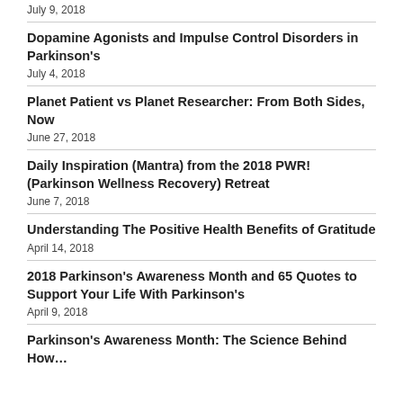July 9, 2018
Dopamine Agonists and Impulse Control Disorders in Parkinson's
July 4, 2018
Planet Patient vs Planet Researcher: From Both Sides, Now
June 27, 2018
Daily Inspiration (Mantra) from the 2018 PWR! (Parkinson Wellness Recovery) Retreat
June 7, 2018
Understanding The Positive Health Benefits of Gratitude
April 14, 2018
2018 Parkinson's Awareness Month and 65 Quotes to Support Your Life With Parkinson's
April 9, 2018
Parkinson's Awareness Month: The Science Behind How…